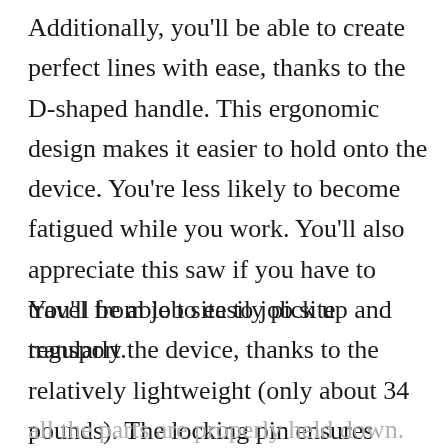Additionally, you'll be able to create perfect lines with ease, thanks to the D-shaped handle. This ergonomic design makes it easier to hold onto the device. You're less likely to become fatigued while you work. You'll also appreciate this saw if you have to travel from job site to job site regularly.
You'll be able to easily pick up and transport the device, thanks to the relatively lightweight (only about 34 pounds). The locking pin ensures all the parts are properly held down. Do some of